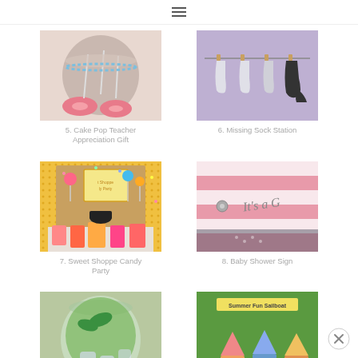Navigation menu
[Figure (photo): Cake pops in a jar with lollipop sticks, pink and white decorations]
5. Cake Pop Teacher Appreciation Gift
[Figure (photo): Missing sock station with socks hanging on a clothesline against a purple wall]
6. Missing Sock Station
[Figure (photo): Sweet Shoppe Candy Party table with colorful candies, gumballs, and decorations on a yellow tablecloth]
7. Sweet Shoppe Candy Party
[Figure (photo): Pink and white striped banner that reads It's a Girl for a baby shower]
8. Baby Shower Sign
[Figure (photo): Green drink in a mason jar, overhead view, partially cut off]
[Figure (photo): Summer Fun Sailboat craft with colorful sailboats on green background]